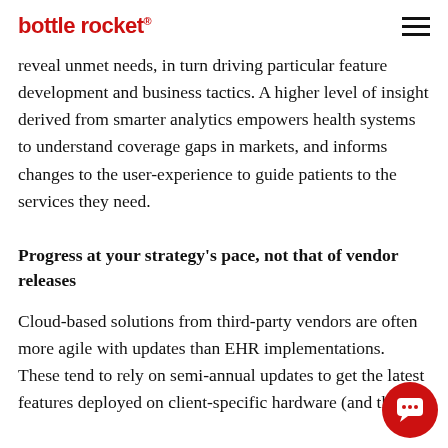bottle rocket®
reveal unmet needs, in turn driving particular feature development and business tactics. A higher level of insight derived from smarter analytics empowers health systems to understand coverage gaps in markets, and informs changes to the user-experience to guide patients to the services they need.
Progress at your strategy's pace, not that of vendor releases
Cloud-based solutions from third-party vendors are often more agile with updates than EHR implementations. These tend to rely on semi-annual updates to get the latest features deployed on client-specific hardware (and that's